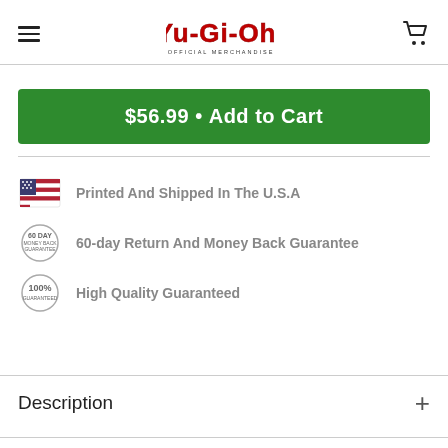Yu-Gi-Oh! Official Merchandise
$56.99 • Add to Cart
Printed And Shipped In The U.S.A
60-day Return And Money Back Guarantee
High Quality Guaranteed
Description